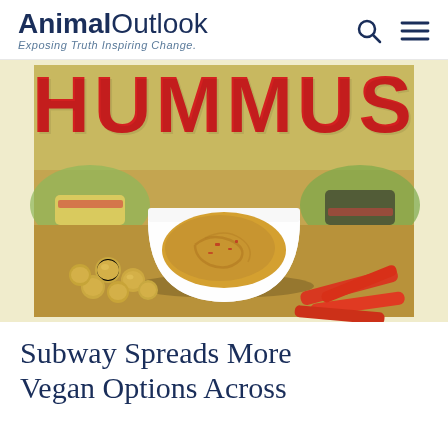Animal Outlook — Exposing Truth Inspiring Change
[Figure (photo): Promotional food photo showing a white bowl of hummus surrounded by chickpeas and red pepper strips, with a large red 'HUMMUS' text overlay and sandwiches in the background. Appears to be a Subway promotional image.]
Subway Spreads More Vegan Options Across...